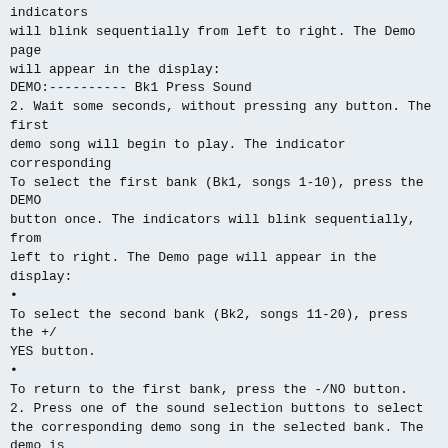indicators
will blink sequentially from left to right. The Demo page
will appear in the display:
DEMO:---------- Bk1 Press Sound
2. Wait some seconds, without pressing any button. The first
demo song will begin to play. The indicator corresponding
To select the first bank (Bk1, songs 1-10), press the DEMO
button once. The indicators will blink sequentially, from
left to right. The Demo page will appear in the display:
•
To select the second bank (Bk2, songs 11-20), press the +/
YES button.
•
To return to the first bank, press the -/NO button.
2. Press one of the sound selection buttons to select the corresponding demo song in the selected bank. The demo is
based on the sound associated with the button. The indicator on the selected demo button will stay on, while the
other indicators will turn off.
13
English
Before you begin > Adjusting the volume
Before you begin > Listening to the Demo
3. After the end of the selected song, all the songs